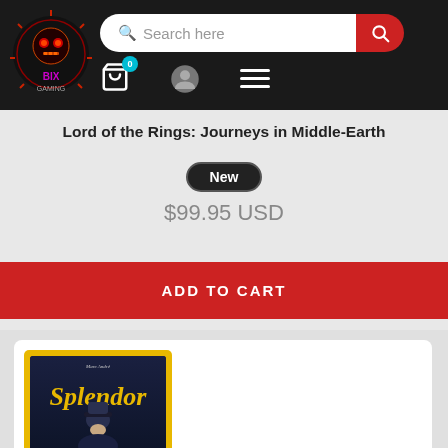[Figure (screenshot): E-commerce website navigation bar with gaming store logo, search bar, cart icon with badge showing 0, user icon, and hamburger menu]
Lord of the Rings: Journeys in Middle-Earth
New
$99.95 USD
ADD TO CART
[Figure (photo): Splendor board game box cover showing the title 'Splendor' in yellow text on a dark navy/blue background with a figure wearing a hat]